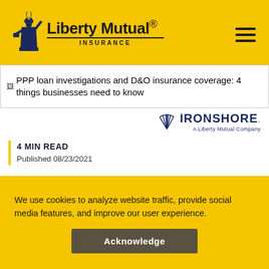[Figure (logo): Liberty Mutual Insurance logo with Statue of Liberty icon, company name and INSURANCE text]
[Figure (screenshot): Image placeholder for article: PPP loan investigations and D&O insurance coverage: 4 things businesses need to know]
[Figure (logo): Ironshore - A Liberty Mutual Company logo]
4 MIN READ
Published 08/23/2021
PPP loan investigations and D&O insurance coverage: 4
We use cookies to analyze website traffic, provide social media features, and improve our user experience.
Acknowledge